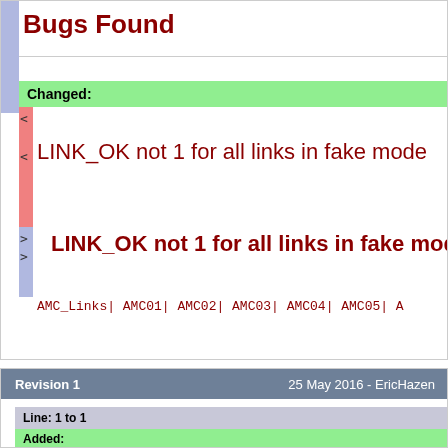Bugs Found
Changed:
LINK_OK not 1 for all links in fake mode
LINK_OK not 1 for all links in fake mode
AMC_Links| AMC01| AMC02| AMC03| AMC04| AMC05| A
Revision 1    25 May 2016 - EricHazen
Line: 1 to 1
Added: